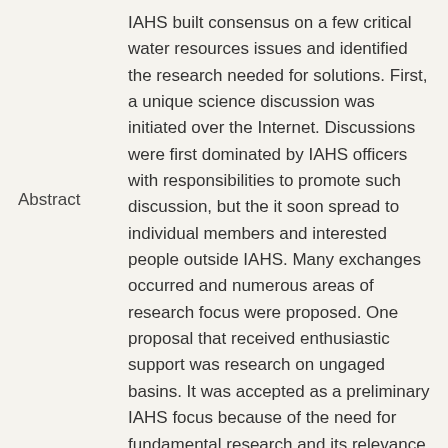IAHS built consensus on a few critical water resources issues and identified the research needed for solutions. First, a unique science discussion was initiated over the Internet. Discussions were first dominated by IAHS officers with responsibilities to promote such discussion, but the it soon spread to individual members and interested people outside IAHS. Many exchanges occurred and numerous areas of research focus were proposed. One proposal that received enthusiastic support was research on ungaged basins. It was accepted as a preliminary IAHS focus because of the need for fundamental research and its relevance to societal needs in all countries. This focus topic was discussed at the 6th Scientific Assembly of IAHS at Maastricht, The Netherlands, in July 2001 during a workshop on the science agenda of IAHS. The participants recommended establishing a working group on prediction of